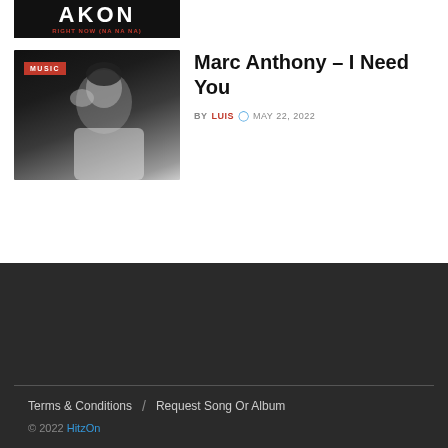[Figure (photo): Album cover thumbnail for Akon – Right Now (Na Na Na), dark background with white text AKON and red subtitle RIGHT NOW (NA NA NA)]
[Figure (photo): Thumbnail photo of Marc Anthony lying down with hand on head, black and white moody style, with red MUSIC badge overlay]
Marc Anthony – I Need You
BY LUIS  MAY 22, 2022
Terms & Conditions  /  Request Song Or Album
© 2022 HitzOn